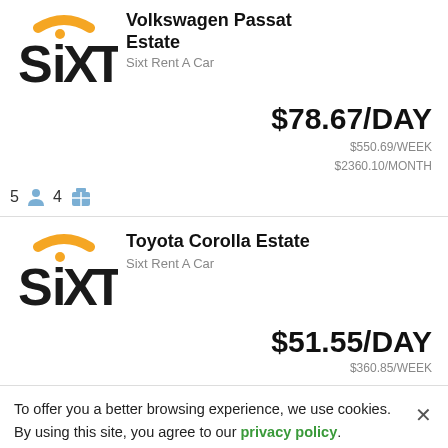[Figure (logo): Sixt Rent A Car logo - black and orange]
Volkswagen Passat Estate
Sixt Rent A Car
$78.67/DAY
$550.69/WEEK
$2360.10/MONTH
5 [person icon] 4 [luggage icon]
[Figure (logo): Sixt Rent A Car logo - black and orange]
Toyota Corolla Estate
Sixt Rent A Car
$51.55/DAY
$360.85/WEEK
To offer you a better browsing experience, we use cookies. By using this site, you agree to our privacy policy.